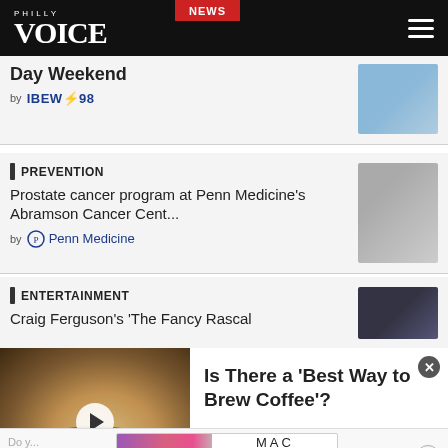Philly Voice NEWS
Day Weekend
by IBEW 98
PREVENTION
Prostate cancer program at Penn Medicine's Abramson Cancer Cent...
by Penn Medicine
ENTERTAINMENT
Craig Ferguson's 'The Fancy Rascal
[Figure (screenshot): Video ad thumbnail showing coffee grounds being scooped with text overlay 'Is There a Best Way to Brew Coffee?']
Is There a ‘Best Way to Brew Coffee’?
[Figure (screenshot): MAC cosmetics banner ad showing lipsticks with SHOP NOW button]